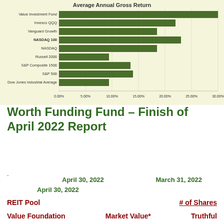[Figure (bar-chart): Average Annual Gross Return]
Worth Funding Fund – Finish of April 2022 Report
.
April 30, 2022    March 31, 2022
April 30, 2022
REIT Pool    # of Shares
Value Foundation    Market Value*    Truthful